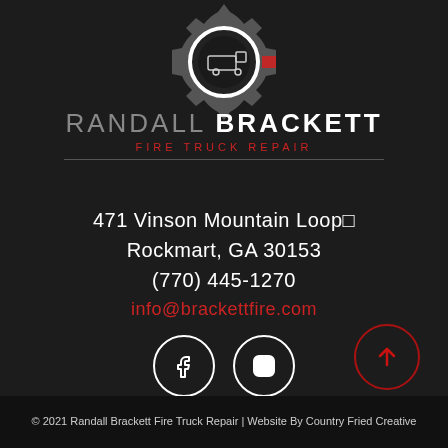[Figure (logo): Randall Brackett Fire Truck Repair gear logo with fire truck silhouette in center circle, partially visible at top of page]
RANDALL BRACKETT FIRE TRUCK REPAIR
471 Vinson Mountain Loop
Rockmart, GA 30153
(770) 445-1270
info@brackettfire.com
[Figure (illustration): Facebook and Instagram social media icons as white circle outlines with f and camera icons respectively]
[Figure (illustration): Back to top arrow button in dark red circle outline, bottom right]
© 2021 Randall Brackett Fire Truck Repair | Website By Country Fried Creative